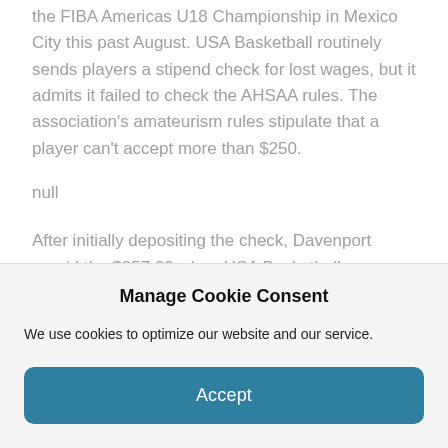the FIBA Americas U18 Championship in Mexico City this past August. USA Basketball routinely sends players a stipend check for lost wages, but it admits it failed to check the AHSAA rules. The association's amateurism rules stipulate that a player can't accept more than $250.
null
After initially depositing the check, Davenport repaid the $857.20 when USA Basketball discovered its error in November.
Manage Cookie Consent
We use cookies to optimize our website and our service.